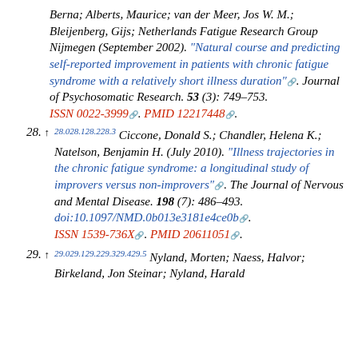Berna; Alberts, Maurice; van der Meer, Jos W. M.; Bleijenberg, Gijs; Netherlands Fatigue Research Group Nijmegen (September 2002). "Natural course and predicting self-reported improvement in patients with chronic fatigue syndrome with a relatively short illness duration". Journal of Psychosomatic Research. 53 (3): 749–753. ISSN 0022-3999. PMID 12217448.
28. ↑ 28.028.128.228.3 Ciccone, Donald S.; Chandler, Helena K.; Natelson, Benjamin H. (July 2010). "Illness trajectories in the chronic fatigue syndrome: a longitudinal study of improvers versus non-improvers". The Journal of Nervous and Mental Disease. 198 (7): 486–493. doi:10.1097/NMD.0b013e3181e4ce0b. ISSN 1539-736X. PMID 20611051.
29. ↑ 29.029.129.229.329.429.5 Nyland, Morten; Naess, Halvor; Birkeland, Jon Steinar; Nyland, Harald